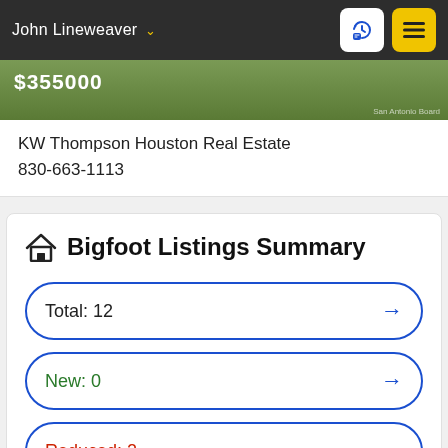John Lineweaver
[Figure (photo): Partial image of a property listing with green grass background, showing price $355000 and watermark text]
KW Thompson Houston Real Estate
830-663-1113
Bigfoot Listings Summary
Total: 12
New: 0
Reduced: 2